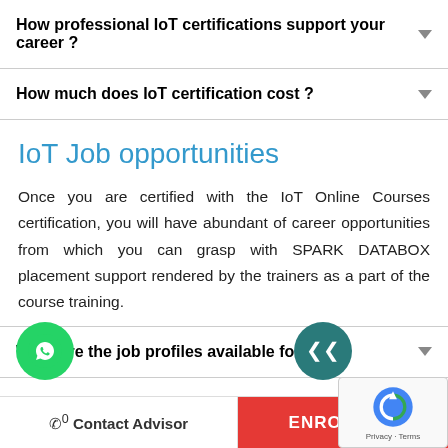How professional IoT certifications support your career ?
How much does IoT certification cost ?
IoT Job opportunities
Once you are certified with the IoT Online Courses certification, you will have abundant of career opportunities from which you can grasp with SPARK DATABOX placement support rendered by the trainers as a part of the course training.
What are the job profiles available for IoT ?
Is the online training course ideal for beginners ?
Contact Advisor   ENROLL NO